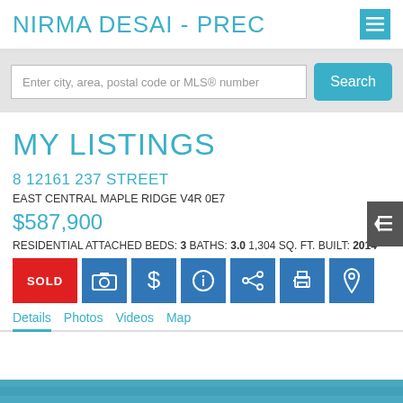NIRMA DESAI - PREC
Enter city, area, postal code or MLS® number
MY LISTINGS
8 12161 237 STREET
EAST CENTRAL MAPLE RIDGE V4R 0E7
$587,900
RESIDENTIAL ATTACHED BEDS: 3 BATHS: 3.0 1,304 SQ. FT. BUILT: 2014
SOLD
Details  Photos  Videos  Map